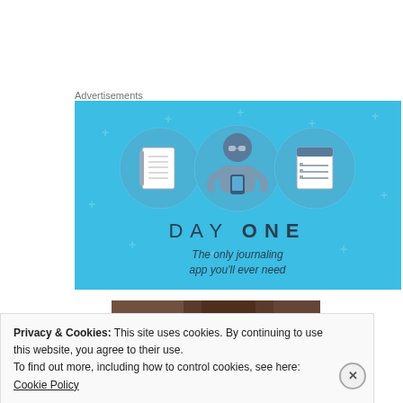Advertisements
[Figure (illustration): Day One journaling app advertisement banner with blue background showing a cartoon person holding a phone, flanked by notebook icons, with text 'DAY ONE' and 'The only journaling app you'll ever need']
[Figure (photo): Partial photo strip showing dark tones, partially obscured by cookie banner]
Privacy & Cookies: This site uses cookies. By continuing to use this website, you agree to their use. To find out more, including how to control cookies, see here: Cookie Policy
Close and accept